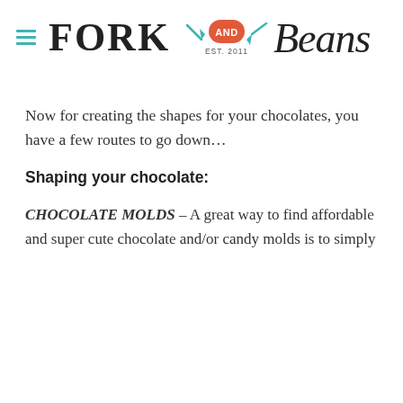Fork and Beans - Est. 2011
Now for creating the shapes for your chocolates, you have a few routes to go down…
Shaping your chocolate:
CHOCOLATE MOLDS – A great way to find affordable and super cute chocolate and/or candy molds is to simply